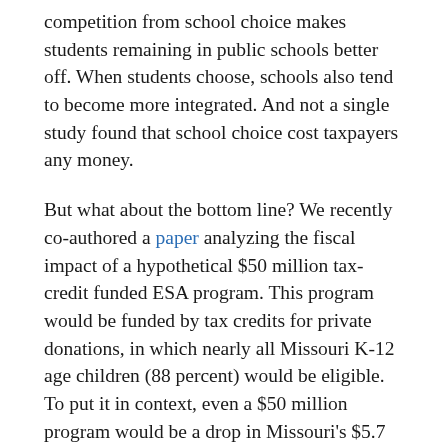competition from school choice makes students remaining in public schools better off. When students choose, schools also tend to become more integrated. And not a single study found that school choice cost taxpayers any money.
But what about the bottom line? We recently co-authored a paper analyzing the fiscal impact of a hypothetical $50 million tax-credit funded ESA program. This program would be funded by tax credits for private donations, in which nearly all Missouri K-12 age children (88 percent) would be eligible. To put it in context, even a $50 million program would be a drop in Missouri's $5.7 billion K-12 education system's bucket.
Using a variety of circumstances to make our estimates, we found that state government and local school districts combined would save between $8 million and $58 million per year under a tax-credit funded ESA